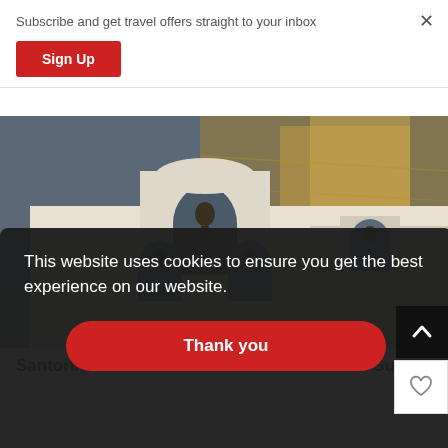Subscribe and get travel offers straight to your inbox
Sign Up
[Figure (photo): Santorini church bell tower with arched openings and bells, sea and golden sunset reflection in background, whitewashed architecture]
Santorini Virtual Tour: 1-hour Live Santorini Sunset Wal…
This website uses cookies to ensure you get the best experience on our website.
Thank you